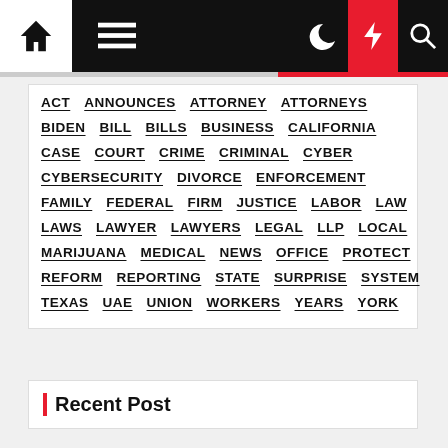Navigation bar with home, menu, moon, bolt, search icons
ACT ANNOUNCES ATTORNEY ATTORNEYS BIDEN BILL BILLS BUSINESS CALIFORNIA CASE COURT CRIME CRIMINAL CYBER CYBERSECURITY DIVORCE ENFORCEMENT FAMILY FEDERAL FIRM JUSTICE LABOR LAW LAWS LAWYER LAWYERS LEGAL LLP LOCAL MARIJUANA MEDICAL NEWS OFFICE PROTECT REFORM REPORTING STATE SURPRISE SYSTEM TEXAS UAE UNION WORKERS YEARS YORK
Recent Post